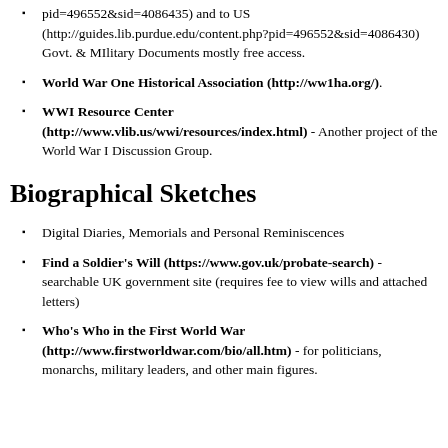pid=496552&sid=4086435) and to US (http://guides.lib.purdue.edu/content.php?pid=496552&sid=4086430) Govt. & MIlitary Documents mostly free access.
World War One Historical Association (http://ww1ha.org/).
WWI Resource Center (http://www.vlib.us/wwi/resources/index.html) - Another project of the World War I Discussion Group.
Biographical Sketches
Digital Diaries, Memorials and Personal Reminiscences
Find a Soldier's Will (https://www.gov.uk/probate-search) - searchable UK government site (requires fee to view wills and attached letters)
Who's Who in the First World War (http://www.firstworldwar.com/bio/all.htm) - for politicians, monarchs, military leaders, and other main figures.